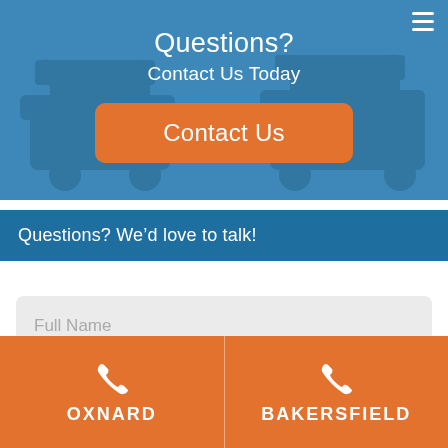Questions?
Contact Us Today
[Figure (photo): Golf carts parked, visible through blue-tinted hero background]
Contact Us
Questions? We'd love to talk!
Full Name
OXNARD
BAKERSFIELD